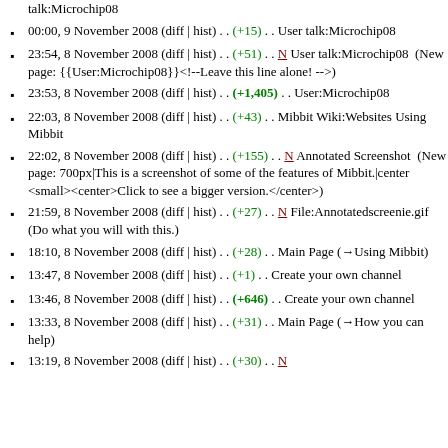talk:Microchip08
00:00, 9 November 2008 (diff | hist) . . (+15) . . User talk:Microchip08
23:54, 8 November 2008 (diff | hist) . . (+51) . . N User talk:Microchip08  (New page: {{User:Microchip08}}<!--Leave this line alone! -->)
23:53, 8 November 2008 (diff | hist) . . (+1,405) . . User:Microchip08
22:03, 8 November 2008 (diff | hist) . . (+43) . . Mibbit Wiki:Websites Using Mibbit
22:02, 8 November 2008 (diff | hist) . . (+155) . . N Annotated Screenshot  (New page: 700px|This is a screenshot of some of the features of Mibbit.|center <small><center>Click to see a bigger version.</center>)
21:59, 8 November 2008 (diff | hist) . . (+27) . . N File:Annotatedscreenie.gif  (Do what you will with this.)
18:10, 8 November 2008 (diff | hist) . . (+28) . . Main Page (→Using Mibbit)
13:47, 8 November 2008 (diff | hist) . . (+1) . . Create your own channel
13:46, 8 November 2008 (diff | hist) . . (+646) . . Create your own channel
13:33, 8 November 2008 (diff | hist) . . (+31) . . Main Page (→How you can help)
13:19, 8 November 2008 (diff | hist) . . (+30) . . N Babble:Namespace (Babble:Namespace see also Babble...